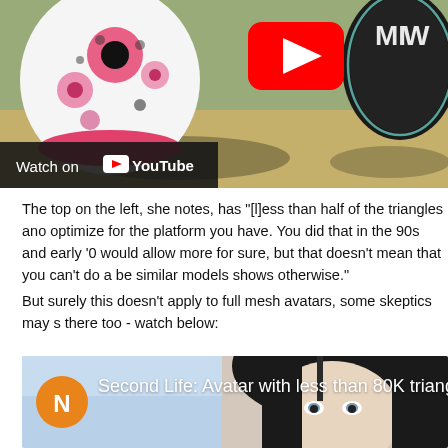[Figure (screenshot): YouTube video thumbnail showing 3D virtual world scene with floral-patterned object on left and dark object on right, with YouTube play button overlay and 'Watch on YouTube' bar at bottom]
The top on the left, she notes, has "[l]ess than half of the triangles and optimize for the platform you have. You did that in the 90s and early '0 would allow more for sure, but that doesn't mean that you can't do a be similar models shows otherwise."
But surely this doesn't apply to full mesh avatars, some skeptics may s there too - watch below:
[Figure (screenshot): YouTube video thumbnail showing 'Second Life: Avatar with less than 80K triangle' with a realistic female avatar face with black hair, and orange channel badge with letter N]